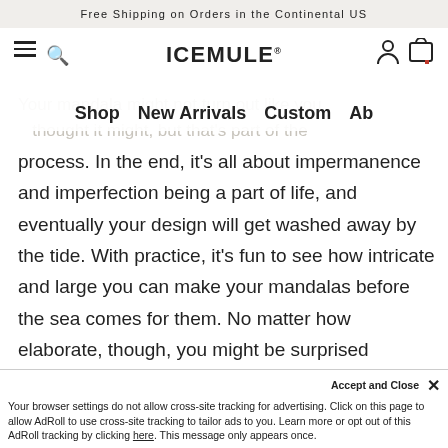Free Shipping on Orders in the Continental US
[Figure (screenshot): ICEMULE website navigation bar with hamburger menu, search icon, ICEMULE logo, user icon, and cart icon]
Shop    New Arrivals    Custom    Ab
Your mandala might not turn out like you thought it might, but that’s part of the process. In the end, it’s all about impermanence and imperfection being a part of life, and eventually your design will get washed away by the tide. With practice, it’s fun to see how intricate and large you can make your mandalas before the sea comes for them. No matter how elaborate, though, you might be surprised by how calm you feel when you to do so.
Accept and Close
Your browser settings do not allow cross-site tracking for advertising. Click on this page to allow AdRoll to use cross-site tracking to tailor ads to you. Learn more or opt out of this AdRoll tracking by clicking here. This message only appears once.